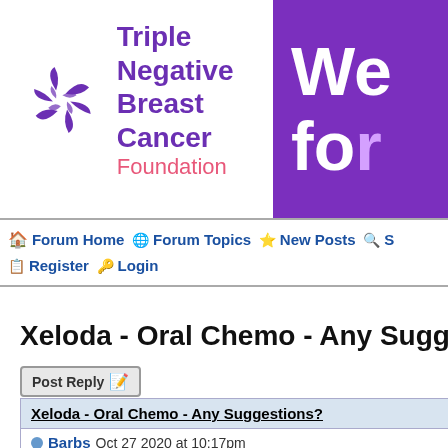[Figure (logo): Triple Negative Breast Cancer Foundation logo with purple pinwheel and text]
[Figure (illustration): Purple banner with white large text 'We for' (partially visible)]
🏠 Forum Home 🌐 Forum Topics ⭐ New Posts 🔍 S  📋 Register 🔑 Login
Xeloda - Oral Chemo - Any Suggestions?
Post Reply
Xeloda - Oral Chemo - Any Suggestions?
Barbs Oct 27 2020 at 10:17pm
I am a 70 year old woman diagnosed in March of th